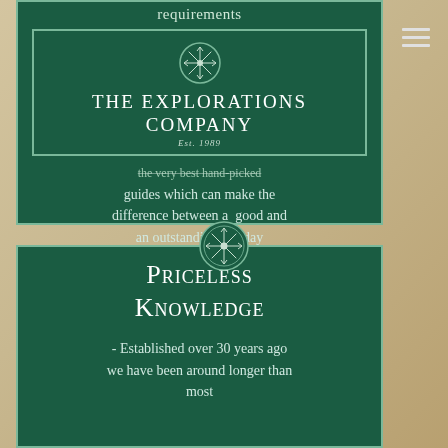requirements
[Figure (logo): The Explorations Company logo — dark green rectangle with decorative snowflake, company name, and Est. 1989]
guides which can make the difference between a good and an outstanding holiday
[Figure (illustration): Decorative snowflake medallion badge between two cards]
Priceless Knowledge
- Established over 30 years ago we have been around longer than most